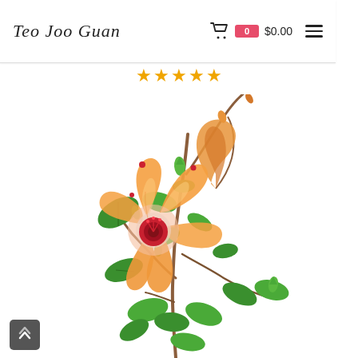Teo Joo Guan — Cart: 0 items $0.00
★★★★☆ (star rating, approximately 4.5 stars)
[Figure (photo): A hibiscus plant with a large open orange and red flower in the center, several green buds, and an orange bud on a tall stem to the upper right, against a white background. The plant has abundant green leaves.]
Back to top button (chevron up icon, dark grey)